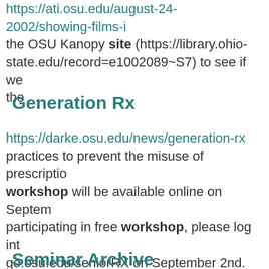https://ati.osu.edu/august-24-2002/showing-films-i the OSU Kanopy site (https://library.ohio-state.edu/record=e1002089~S7) to see if we the ...
Generation Rx
https://darke.osu.edu/news/generation-rx practices to prevent the misuse of prescriptio workshop will be available online on Septem participating in free workshop, please log int go.osu.edu/seniorRX on September 2nd. For information on this Generation RX workshop Extension programs, please contact Dr. Rose
Seminar Archive